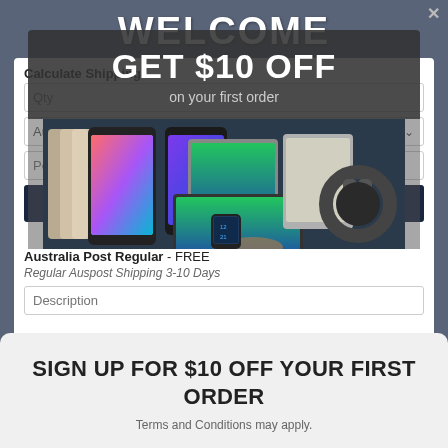WELCOME
Calculate Shipping
Qty
Australia
Post Code
Calculate
Minimum spend of $25
Australia Post Regular - FREE
Regular Auspost Shipping 3-10 Days
Description
GET $10 OFF
on your first order
[Figure (photo): Various electronic devices including smartphones, tablets, laptop, smartwatch, and headphones]
SIGN UP FOR $10 OFF YOUR FIRST ORDER
Terms and Conditions may apply.